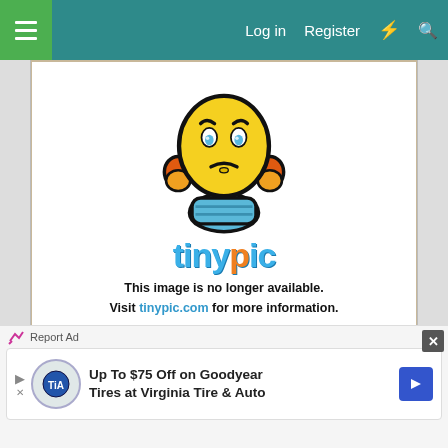Log in  Register
[Figure (illustration): Tinypic broken image placeholder: sad yellow emoji face with hands on head, blue body, orange ears, above the tinypic logo text and message 'This image is no longer available. Visit tinypic.com for more information.']
This image is no longer available. Visit tinypic.com for more information.
Report Ad
Up To $75 Off on Goodyear Tires at Virginia Tire & Auto